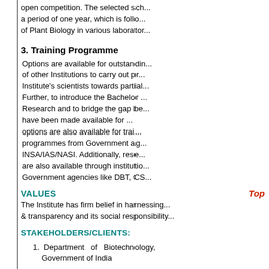open competition. The selected sch... a period of one year, which is follo... of Plant Biology in various laborator...
3. Training Programme
Options are available for outstandin... of other Institutions to carry out pr... Institute's scientists towards partial... Further, to introduce the Bachelor ... Research and to bridge the gap be... have been made available for ... options are also available for trai... programmes from Government ag... INSA/IAS/NASI. Additionally, rese... are also available through institutio... Government agencies like DBT, CS...
VALUES
Top
The Institute has firm belief in harnessing & transparency and its social responsibility...
STAKEHOLDERS/CLIENTS:
1. Department of Biotechnology, Government of India
2. Government Institutions, Colleges,
3. Agricultural...